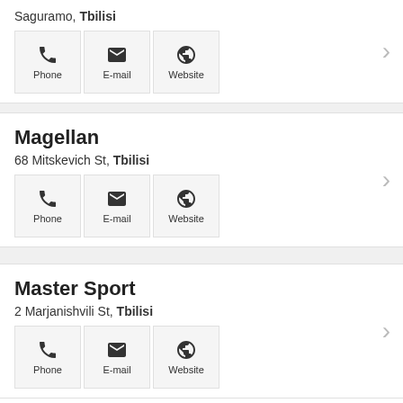Saguramo, Tbilisi
[Figure (infographic): Contact buttons: Phone, E-mail, Website for Saguramo listing]
Magellan
68 Mitskevich St, Tbilisi
[Figure (infographic): Contact buttons: Phone, E-mail, Website for Magellan listing]
Master Sport
2 Marjanishvili St, Tbilisi
[Figure (infographic): Contact buttons: Phone, E-mail, Website for Master Sport listing]